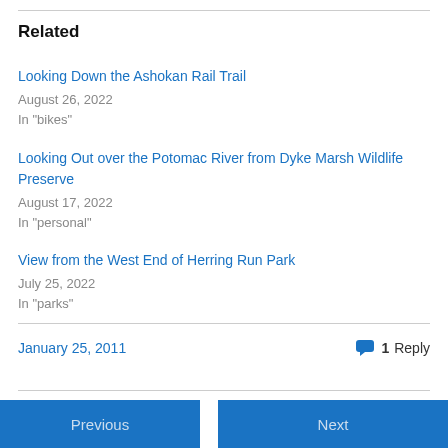Related
Looking Down the Ashokan Rail Trail
August 26, 2022
In "bikes"
Looking Out over the Potomac River from Dyke Marsh Wildlife Preserve
August 17, 2022
In "personal"
View from the West End of Herring Run Park
July 25, 2022
In "parks"
January 25, 2011
1 Reply
Previous
Next